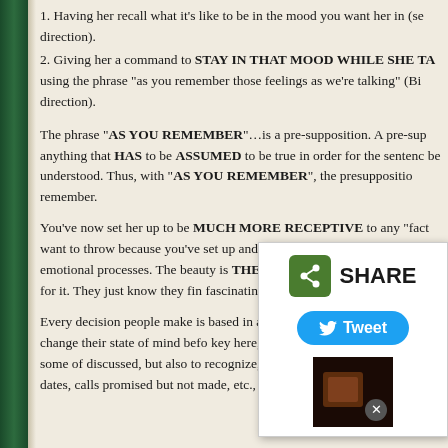1. Having her recall what it's like to be in the mood you want her in (se direction).
2. Giving her a command to STAY IN THAT MOOD WHILE SHE TA using the phrase “as you remember those feelings as we’re talking” (Bi direction).
The phrase “AS YOU REMEMBER”…is a pre-supposition. A pre-sup anything that HAS to be ASSUMED to be true in order for the sentenc be understood. Thus, with “AS YOU REMEMBER”, the presuppositio remember.
You’ve now set her up to be MUCH MORE RECEPTIVE to any “fact want to throw because you’ve set up and BOUND the direction of her emotional processes. The beauty is THEY NEVER hearing it or looking for it. They just know they fin fascinating and irresistibly attractive.
Every decision people make is based in and depen like their decision, change their state of mind befo key here, is to set up the right state using some of discussed, but also to recognize, that if you’re gett of broken dates, calls promised but not made, etc.,